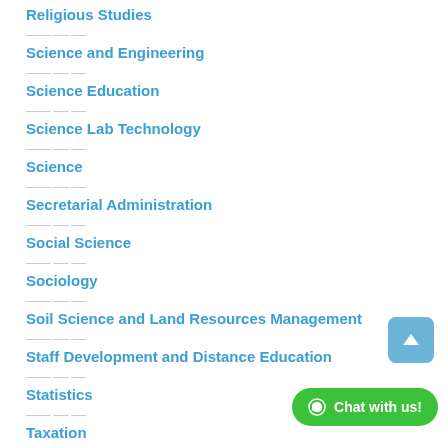Religious Studies
Science and Engineering
Science Education
Science Lab Technology
Science
Secretarial Administration
Social Science
Sociology
Soil Science and Land Resources Management
Staff Development and Distance Education
Statistics
Taxation
Textile